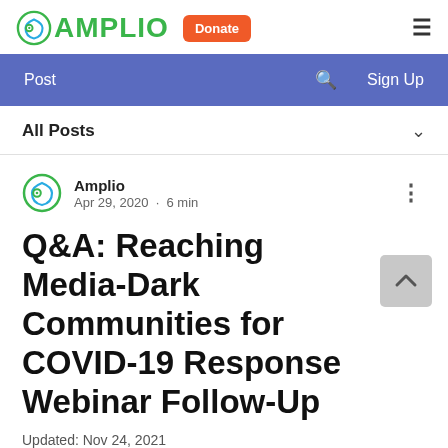AMPLIO — Donate — menu
Post — Search — Sign Up
All Posts
Amplio
Apr 29, 2020 · 6 min
Q&A: Reaching Media-Dark Communities for COVID-19 Response Webinar Follow-Up
Updated: Nov 24, 2021